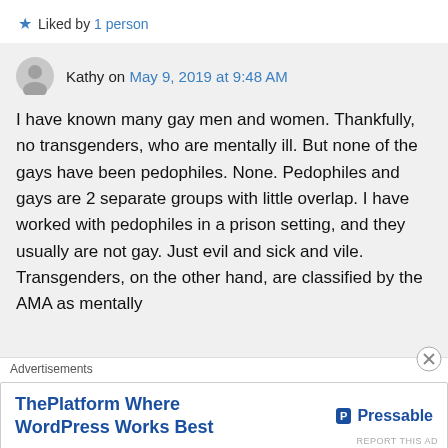★ Liked by 1 person
Kathy on May 9, 2019 at 9:48 AM
I have known many gay men and women. Thankfully, no transgenders, who are mentally ill. But none of the gays have been pedophiles. None. Pedophiles and gays are 2 separate groups with little overlap. I have worked with pedophiles in a prison setting, and they usually are not gay. Just evil and sick and vile. Transgenders, on the other hand, are classified by the AMA as mentally
Advertisements
ThePlatform Where WordPress Works Best — Pressable